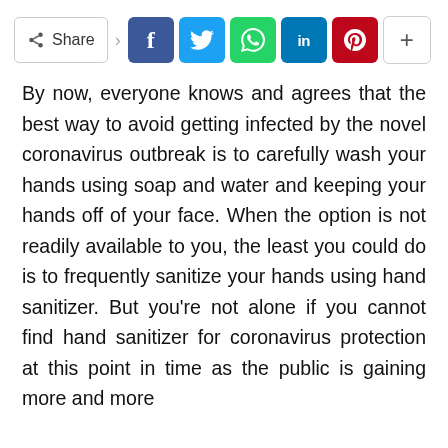[Figure (infographic): Social share bar with Share label and social media buttons: Facebook, Twitter, WhatsApp, LinkedIn, Pinterest, and a More (+) button]
By now, everyone knows and agrees that the best way to avoid getting infected by the novel coronavirus outbreak is to carefully wash your hands using soap and water and keeping your hands off of your face. When the option is not readily available to you, the least you could do is to frequently sanitize your hands using hand sanitizer. But you're not alone if you cannot find hand sanitizer for coronavirus protection at this point in time as the public is gaining more and more